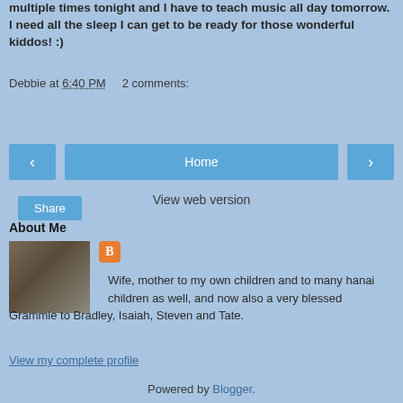multiple times tonight and I have to teach music all day tomorrow. I need all the sleep I can get to be ready for those wonderful kiddos! :)
Debbie at 6:40 PM    2 comments:
[Figure (screenshot): Share button - blue rounded button]
[Figure (screenshot): Navigation buttons: left arrow chevron, Home button, right arrow chevron]
View web version
About Me
[Figure (photo): Profile photo of a couple sitting at a restaurant table]
[Figure (logo): Blogger orange B logo icon]
Wife, mother to my own children and to many hanai children as well, and now also a very blessed Grammie to Bradley, Isaiah, Steven and Tate.
View my complete profile
Powered by Blogger.